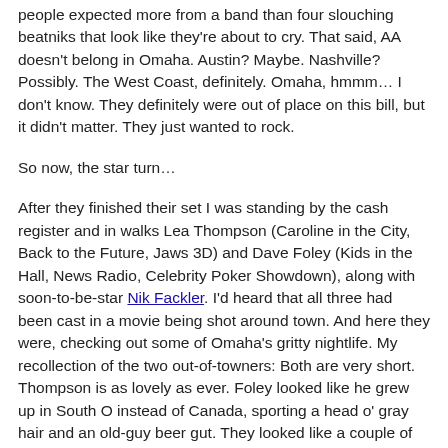people expected more from a band than four slouching beatniks that look like they're about to cry. That said, AA doesn't belong in Omaha. Austin? Maybe. Nashville? Possibly. The West Coast, definitely. Omaha, hmmm… I don't know. They definitely were out of place on this bill, but it didn't matter. They just wanted to rock.
So now, the star turn…
After they finished their set I was standing by the cash register and in walks Lea Thompson (Caroline in the City, Back to the Future, Jaws 3D) and Dave Foley (Kids in the Hall, News Radio, Celebrity Poker Showdown), along with soon-to-be-star Nik Fackler. I'd heard that all three had been cast in a movie being shot around town. And here they were, checking out some of Omaha's gritty nightlife. My recollection of the two out-of-towners: Both are very short. Thompson is as lovely as ever. Foley looked like he grew up in South O instead of Canada, sporting a head o' gray hair and an old-guy beer gut. They looked like a couple of locals, which I guess is what they're playing in the movie.
But I digress. The stars showed up just in time to see The Holy Ghost Revival, the band touring with Two Gallants who's music is somewhat in the same vein, though a little more fleshed out with keyboards, a bass, sort of like a regular band but with a frontman who looked like Iggy Pop's son complete with tit-length hair and exposed abs throughout his shirtless set. I heard them described as a cross between Nick Cave and the Bad Seeds and Frank Zappa. I likened them more to a psychedelic jug band. I